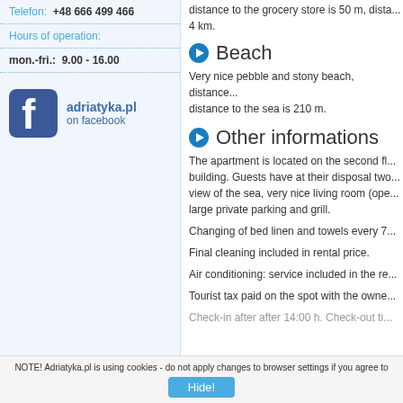Telefon: +48 666 499 466
Hours of operation:
mon.-fri.: 9.00 - 16.00
[Figure (logo): Facebook logo icon with adriatyka.pl on facebook text]
Beach
Very nice pebble and stony beach, distance... distance to the sea is 210 m.
Other informations
The apartment is located on the second fl... building. Guests have at their disposal two... view of the sea, very nice living room (ope... large private parking and grill.
Changing of bed linen and towels every 7...
Final cleaning included in rental price.
Air conditioning: service included in the re...
Tourist tax paid on the spot with the owne...
Check-in after after 14:00 h. Check-out ti...
NOTE! Adriatyka.pl is using cookies - do not apply changes to browser settings if you agree to